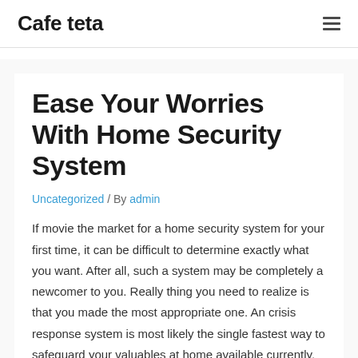Cafe teta
Ease Your Worries With Home Security System
Uncategorized / By admin
If movie the market for a home security system for your first time, it can be difficult to determine exactly what you want. After all, such a system may be completely a newcomer to you. Really thing you need to realize is that you made the most appropriate one. An crisis response system is most likely the single fastest way to safeguard your valuables at home available currently. Second of all, nevertheless only a rather small learning curve related to them, due to the fact are as easy to use as they work effectively. The following are a few surprises shared online . have up for grabs for